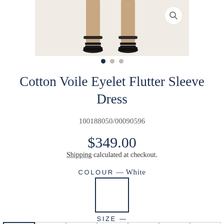[Figure (photo): Bottom portion of a model wearing a dress, showing legs and sandals on a light beige background, with a magnifying glass icon in top right]
Cotton Voile Eyelet Flutter Sleeve Dress
100188050/00090596
$349.00
Shipping calculated at checkout.
COLOUR — White
SIZE —
0  2  4  6  8  10  12